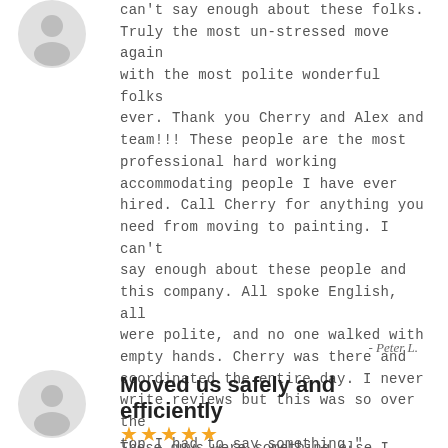[Figure (illustration): Circular avatar icon (gray silhouette) top left]
can't say enough about these folks. Truly the most un-stressed move again with the most polite wonderful folks ever. Thank you Cherry and Alex and team!!! These people are the most professional hard working accommodating people I have ever hired. Call Cherry for anything you need from moving to painting. I can't say enough about these people and this company. All spoke English, all were polite, and no one walked with empty hands. Cherry was there and coordinated the entire day. I never write reviews but this was so over the top I had to say something."
- Peter L.
Moved us safely and efficiently
[Figure (illustration): Circular avatar icon (gray silhouette) second review]
★★★★★
These guys were something else I